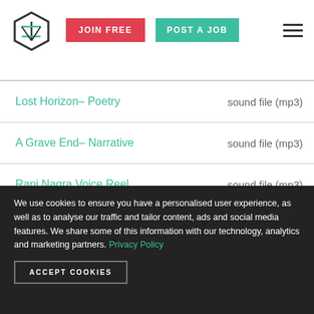[Figure (logo): Hexagonal logo icon with arrows]
JOIN FREE
POST A JOB
| Title | Type |
| --- | --- |
| Lost Horizon– Poetry | sound file (mp3) |
| A Grave End– Narrative | sound file (mp3) |
| Ranj Nagra Voice Reel | sound file (mp3) |
We use cookies to ensure you have a personalised user experience, as well as to analyse our traffic and tailor content, ads and social media features. We share some of this information with our technology, analytics and marketing partners. Privacy Policy
ACCEPT COOKIES